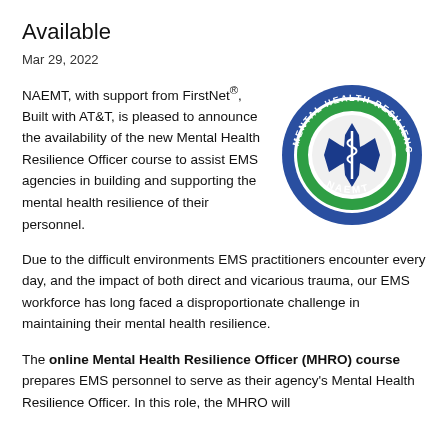Available
Mar 29, 2022
NAEMT, with support from FirstNet®, Built with AT&T, is pleased to announce the availability of the new Mental Health Resilience Officer course to assist EMS agencies in building and supporting the mental health resilience of their personnel.
[Figure (logo): Mental Health Resilience NAEMT circular badge logo with blue background, green and white rings, and Star of Life symbol in center]
Due to the difficult environments EMS practitioners encounter every day, and the impact of both direct and vicarious trauma, our EMS workforce has long faced a disproportionate challenge in maintaining their mental health resilience.
The online Mental Health Resilience Officer (MHRO) course prepares EMS personnel to serve as their agency's Mental Health Resilience Officer. In this role, the MHRO will